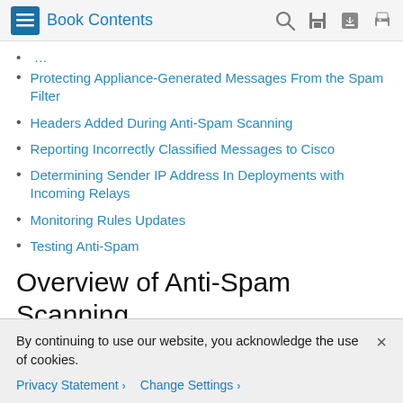Book Contents
Protecting Appliance-Generated Messages From the Spam Filter
Headers Added During Anti-Spam Scanning
Reporting Incorrectly Classified Messages to Cisco
Determining Sender IP Address In Deployments with Incoming Relays
Monitoring Rules Updates
Testing Anti-Spam
Overview of Anti-Spam Scanning
Anti-spam processes scan email for incoming (and outgoing) mail based on the mail policies that you configure.
By continuing to use our website, you acknowledge the use of cookies.
Privacy Statement > Change Settings >